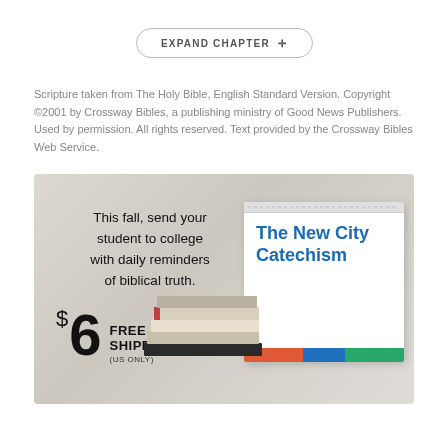EXPAND CHAPTER
Scripture taken from The Holy Bible, English Standard Version. Copyright ©2001 by Crossway Bibles, a publishing ministry of Good News Publishers. Used by permission. All rights reserved. Text provided by the Crossway Bibles Web Service.
[Figure (infographic): Advertisement for The New City Catechism. Shows text 'This fall, send your student to college with daily reminders of biblical truth.' Price of $6 with FREE SHIPPING (US ONLY). Image shows a desk calendar with title 'The New City Catechism' and colored stripe footer.]